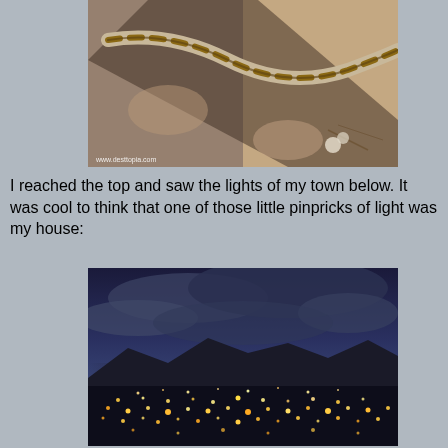[Figure (photo): Close-up photo of a snake (appears to be a gopher or garter snake) on rocky ground, with a watermark reading www.desttopia.com]
I reached the top and saw the lights of my town below. It was cool to think that one of those little pinpricks of light was my house:
[Figure (photo): Night/dusk panoramic photo of city lights spread across a valley, with mountains silhouetted against a deep blue sky with clouds]